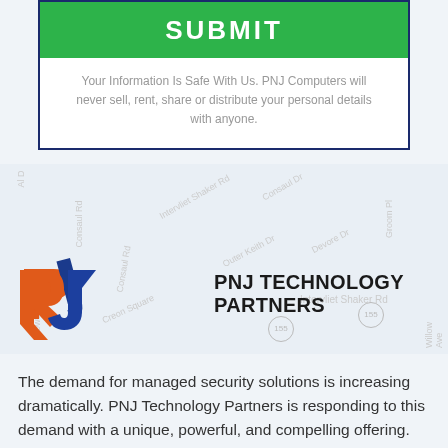[Figure (other): Green SUBMIT button inside a dark blue bordered form box]
Your Information Is Safe With Us. PNJ Computers will never sell, rent, share or distribute your personal details with anyone.
[Figure (map): Google Maps style background map showing Intervliet Shaker Rd area with road labels and route 155 markers]
[Figure (logo): PNJ Technology Partners logo with orange and blue interlocking P and J shapes]
The demand for managed security solutions is increasing dramatically. PNJ Technology Partners is responding to this demand with a unique, powerful, and compelling offering.